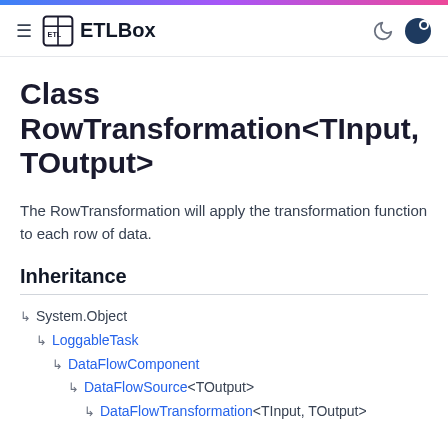ETLBox
Class RowTransformation<TInput, TOutput>
The RowTransformation will apply the transformation function to each row of data.
Inheritance
System.Object
LoggableTask
DataFlowComponent
DataFlowSource<TOutput>
DataFlowTransformation<TInput, TOutput>